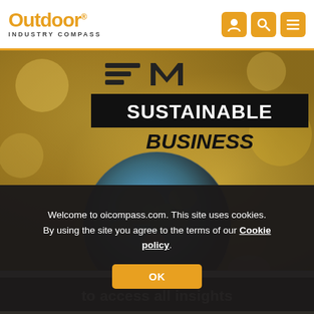Outdoor INDUSTRY COMPASS
[Figure (illustration): EDM Sustainable Business banner with globe image on golden bokeh background]
Welcome to oicompass.com. This site uses cookies. By using the site you agree to the terms of our Cookie policy.
OK
to access all insights